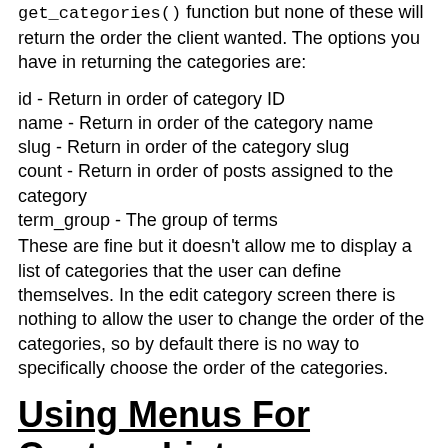get_categories() function but none of these will return the order the client wanted. The options you have in returning the categories are:
id - Return in order of category ID
name - Return in order of the category name
slug - Return in order of the category slug
count - Return in order of posts assigned to the category
term_group - The group of terms
These are fine but it doesn't allow me to display a list of categories that the user can define themselves. In the edit category screen there is nothing to allow the user to change the order of the categories, so by default there is no way to specifically choose the order of the categories.
Using Menus For Custom Lists
One of the best features in WordPress is the menu